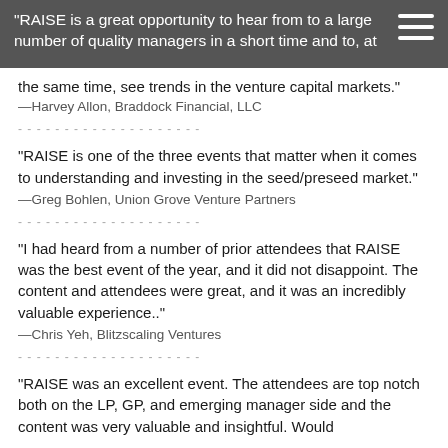“RAISE is a great opportunity to hear from to a large number of quality managers in a short time and to, at the same time, see trends in the venture capital markets.”
—Harvey Allon, Braddock Financial, LLC
- - - - - - - - - - - - - - - - - - - -
“RAISE is one of the three events that matter when it comes to understanding and investing in the seed/preseed market.”
—Greg Bohlen, Union Grove Venture Partners
- - - - - - - - - - - - - - - - - - - -
“I had heard from a number of prior attendees that RAISE was the best event of the year, and it did not disappoint.  The content and attendees were great, and it was an incredibly valuable experience..”
—Chris Yeh, Blitzscaling Ventures
- - - - - - - - - - - - - - - - - - - -
“RAISE was an excellent event.  The attendees are top notch both on the LP, GP, and emerging manager side and the content was very valuable and insightful.  Would definitely recommend...”